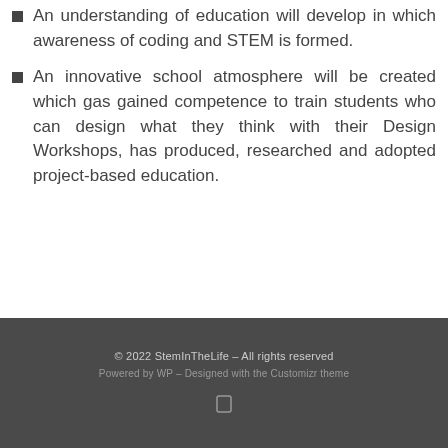An understanding of education will develop in which awareness of coding and STEM is formed.
An innovative school atmosphere will be created which gas gained competence to train students who can design what they think with their Design Workshops, has produced, researched and adopted project-based education.
© 2022 StemInTheLife – All rights reserved
Powered by WP – Designed with the Customizr theme